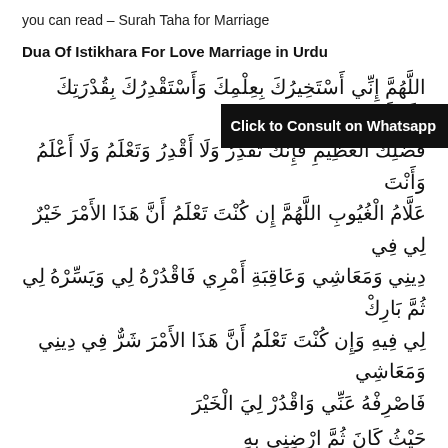you can read – Surah Taha for Marriage
Dua Of Istikhara For Love Marriage in Urdu
اللَّهُمَّ إِنِّي أَسْتَخِيرُكَ بِعِلْمِكَ وَأَسْتَقْدِرُكَ بِقُدْرَتِكَ وَأَسْأَلُكَ مِنْ فَضْلِكَ الْعَظِيمِ فَإِنَّكَ تَقْدِرُ وَلَا أَقْدِرُ وَتَعْلَمُ وَلَا أَعْلَمُ وَأَنْتَ عَلَّامُ الْغُيُوبِ اللَّهُمَّ إِن كُنْتَ تَعْلَمُ أَنَّ هَذَا الأَمْرَ خَيْرٌ لِي فِي دِينِي وَمَعَاشِي وَعَاقِبَةِ أَمْرِي فَاقْدُرْهُ لِي وَيَسِّرْهُ لِي ثُمَّ بَارِكْ لِي فِيهِ وَإِن كُنْتَ تَعْلَمُ أَنَّ هَذَا الأَمْرَ شَرٌّ فِي دِينِي وَمَعَاشِي فَاصْرِفْهُ عَنِّي وَاقْدُرْ لِيَ الْخَيْرَ حَيْثُ كَانَ ثُمَّ ارْضِنِي بِهِ
Translation of Dua For Istikhara For Love Marriage
Allahumma inni astakhiruka bi'ilmika, Wa astaqdiruka bi-qudratika, Wa as'aluka min fadlika al-adhimi fa-innaka taqdiru wala aqdiru, Wa ta'alamu wala a'alamu, Wa anta allamul ghuyub, Allahumma